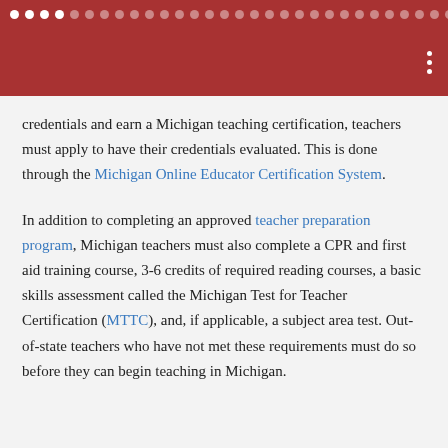● ● ● ● ○ ○ ○ ○ ○ ○ ○ ○ ○ ○ ○ ○ ○ ○ ○ ○ ○ ○ ○ ○ ○ ○ ○ ○ ○ ○ ○ ○ ○ ○
credentials and earn a Michigan teaching certification, teachers must apply to have their credentials evaluated. This is done through the Michigan Online Educator Certification System.
In addition to completing an approved teacher preparation program, Michigan teachers must also complete a CPR and first aid training course, 3-6 credits of required reading courses, a basic skills assessment called the Michigan Test for Teacher Certification (MTTC), and, if applicable, a subject area test. Out-of-state teachers who have not met these requirements must do so before they can begin teaching in Michigan.